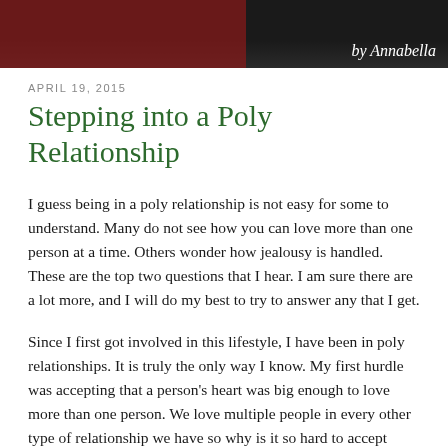[Figure (photo): Dark header image with a reddish-brown section on the left and dark background, with 'by Annabella' written in white cursive script in the lower right corner.]
APRIL 19, 2015
Stepping into a Poly Relationship
I guess being in a poly relationship is not easy for some to understand. Many do not see how you can love more than one person at a time. Others wonder how jealousy is handled. These are the top two questions that I hear. I am sure there are a lot more, and I will do my best to try to answer any that I get.
Since I first got involved in this lifestyle, I have been in poly relationships. It is truly the only way I know. My first hurdle was accepting that a person's heart was big enough to love more than one person. We love multiple people in every other type of relationship we have so why is it so hard to accept